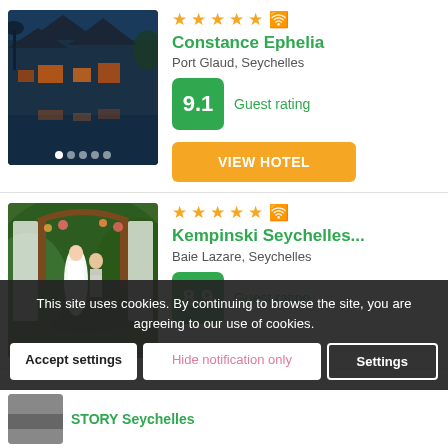[Figure (photo): Hotel exterior with water reflection at dusk, tropical architecture with illuminated interiors]
★★★★★
Constance Ephelia
Port Glaud, Seychelles
9.1
Guest rating
VIEW HOTEL
[Figure (photo): Wedding couple under a wooden arch decorated with flowers and white drapes in a tropical garden]
★★★★★
Kempinski Seychelles...
Baie Lazare, Seychelles
8.9
Guest rating
This site uses cookies. By continuing to browse the site, you are agreeing to our use of cookies.
Accept settings
Hide notification only
Settings
STORY Seychelles